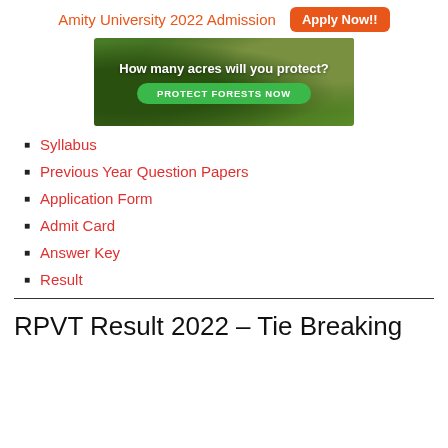Amity University 2022 Admission   Apply Now!!
[Figure (photo): Advertisement banner showing forest/nature background with text 'How many acres will you protect?' and a green button 'PROTECT FORESTS NOW']
Syllabus
Previous Year Question Papers
Application Form
Admit Card
Answer Key
Result
RPVT Result 2022 – Tie Breaking